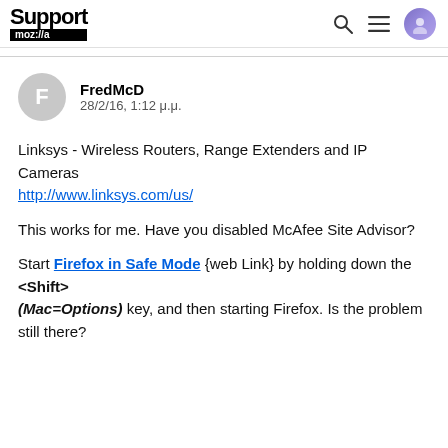Support moz://a
FredMcD
28/2/16, 1:12 μ.μ.
Linksys - Wireless Routers, Range Extenders and IP Cameras
http://www.linksys.com/us/
This works for me. Have you disabled McAfee Site Advisor?
Start Firefox in Safe Mode {web Link} by holding down the <Shift> (Mac=Options) key, and then starting Firefox. Is the problem still there?